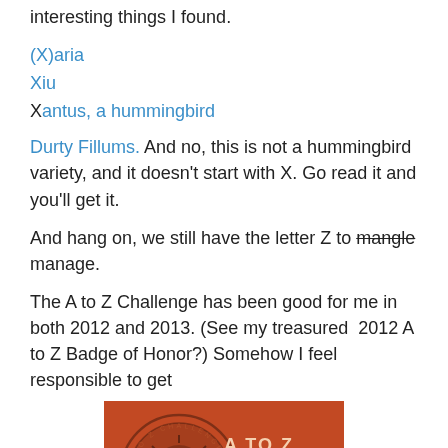interesting things I found.
(X)aria
Xiu
Xantus, a hummingbird
Durty Fillums. And no, this is not a hummingbird variety, and it doesn't start with X. Go read it and you'll get it.
And hang on, we still have the letter Z to mangle manage.
The A to Z Challenge has been good for me in both 2012 and 2013. (See my treasured  2012 A to Z Badge of Honor?) Somehow I feel responsible to get
[Figure (illustration): A to Z April Challenge 2012 Survivor badge in orange/red with circular stamp design and '2012' prominently displayed]